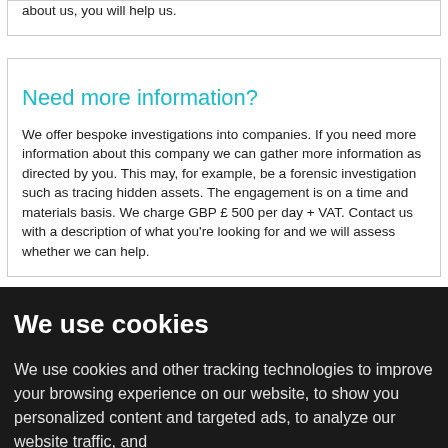about us, you will help us.
Need more information?
We offer bespoke investigations into companies. If you need more information about this company we can gather more information as directed by you. This may, for example, be a forensic investigation such as tracing hidden assets. The engagement is on a time and materials basis. We charge GBP £ 500 per day + VAT. Contact us with a description of what you're looking for and we will assess whether we can help.
We use cookies
We use cookies and other tracking technologies to improve your browsing experience on our website, to show you personalized content and targeted ads, to analyze our website traffic, and